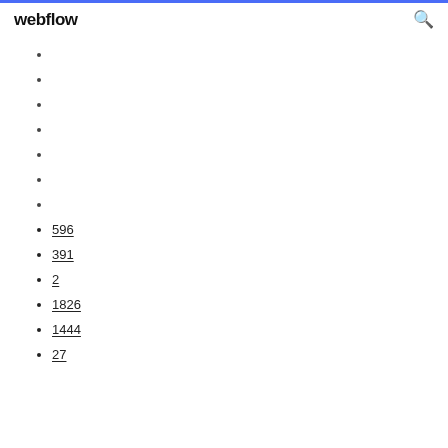webflow
596
391
2
1826
1444
27